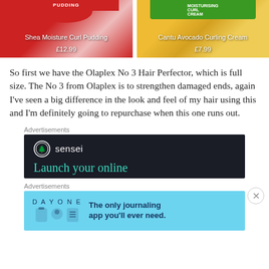[Figure (photo): Two product images side by side: Shea Moisture Curl Pudding labeled £12.99 on the left, and Cantu Avocado Curling Cream labeled £7.99 on the right]
So first we have the Olaplex No 3 Hair Perfector, which is full size. The No 3 from Olaplex is to strengthen damaged ends, again I've seen a big difference in the look and feel of my hair using this and I'm definitely going to repurchase when this one runs out.
Advertisements
[Figure (other): Dark advertisement banner for Sensei with logo and text 'Launch your online']
Advertisements
[Figure (other): Light blue advertisement banner for Day One journaling app: 'The only journaling app you'll ever need.']